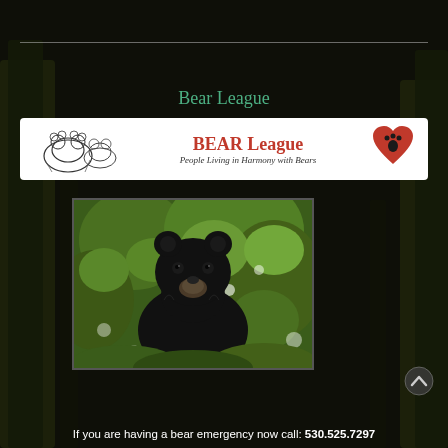Bear League
[Figure (logo): BEAR League banner logo with black bears sketch on left, 'BEAR League' in red bold text center, red heart with bear paw print on right, tagline 'People Living in Harmony with Bears' in italic below]
[Figure (photo): Close-up photograph of a black bear facing camera, surrounded by green foliage]
If you are having a bear emergency now call: 530.525.7297